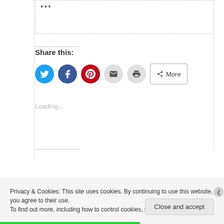Share this:
[Figure (infographic): Social sharing buttons: Twitter (blue circle), Facebook (blue circle), Pinterest (red circle), Email (gray circle), Print (gray circle), and a More button with share icon]
Loading...
Privacy & Cookies: This site uses cookies. By continuing to use this website, you agree to their use.
To find out more, including how to control cookies, see here: Cookie Policy
Close and accept